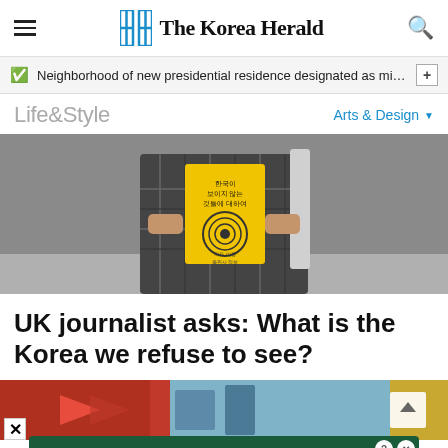The Korea Herald
Neighborhood of new presidential residence designated as milita…
Life&Style
Arts & Design
[Figure (photo): Person in plaid shirt holding a yellow book with Korean text and circular design on the cover]
UK journalist asks: What is the Korea we refuse to see?
[Figure (photo): Partial view of a scene with red and blue elements, partially obscured]
[Figure (other): Tally advertisement banner: Fast credit card payoff, Download Now button]